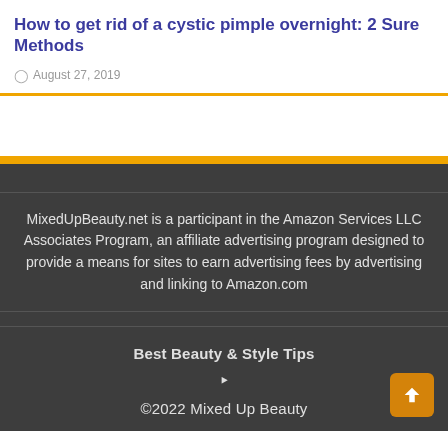How to get rid of a cystic pimple overnight: 2 Sure Methods
August 27, 2019
MixedUpBeauty.net is a participant in the Amazon Services LLC Associates Program, an affiliate advertising program designed to provide a means for sites to earn advertising fees by advertising and linking to Amazon.com
Best Beauty & Style Tips
©2022 Mixed Up Beauty